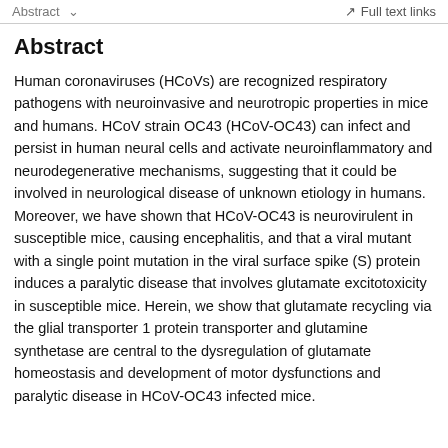Abstract   ∨   Full text links
Abstract
Human coronaviruses (HCoVs) are recognized respiratory pathogens with neuroinvasive and neurotropic properties in mice and humans. HCoV strain OC43 (HCoV-OC43) can infect and persist in human neural cells and activate neuroinflammatory and neurodegenerative mechanisms, suggesting that it could be involved in neurological disease of unknown etiology in humans. Moreover, we have shown that HCoV-OC43 is neurovirulent in susceptible mice, causing encephalitis, and that a viral mutant with a single point mutation in the viral surface spike (S) protein induces a paralytic disease that involves glutamate excitotoxicity in susceptible mice. Herein, we show that glutamate recycling via the glial transporter 1 protein transporter and glutamine synthetase are central to the dysregulation of glutamate homeostasis and development of motor dysfunctions and paralytic disease in HCoV-OC43 infected mice.